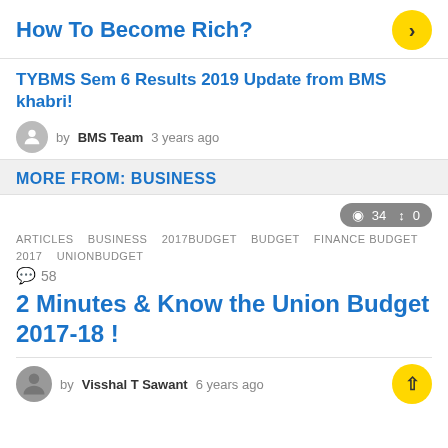How To Become Rich?
TYBMS Sem 6 Results 2019 Update from BMS khabri!
by BMS Team 3 years ago
MORE FROM: BUSINESS
34 0
ARTICLES BUSINESS 2017BUDGET BUDGET FINANCE BUDGET 2017 UNIONBUDGET
58
2 Minutes & Know the Union Budget 2017-18 !
by Visshal T Sawant 6 years ago